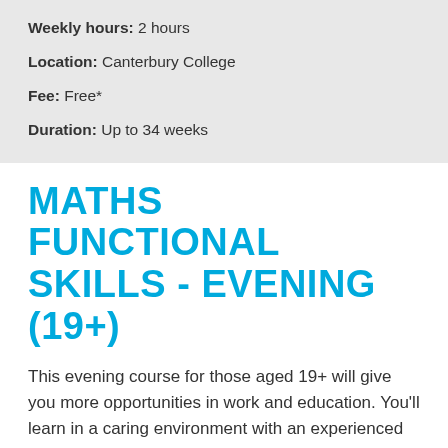Weekly hours: 2 hours
Location: Canterbury College
Fee: Free*
Duration: Up to 34 weeks
MATHS FUNCTIONAL SKILLS - EVENING (19+)
This evening course for those aged 19+ will give you more opportunities in work and education. You'll learn in a caring environment with an experienced tutor, and will also have access to computing software that enables you to get a better understanding of the topics covered in class. The sessions are held on Thursdays at 5:45 -